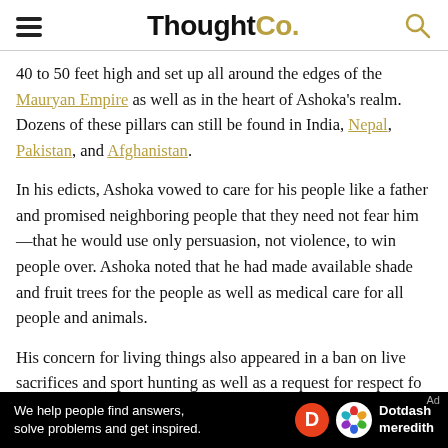ThoughtCo.
40 to 50 feet high and set up all around the edges of the Mauryan Empire as well as in the heart of Ashoka's realm. Dozens of these pillars can still be found in India, Nepal, Pakistan, and Afghanistan.
In his edicts, Ashoka vowed to care for his people like a father and promised neighboring people that they need not fear him—that he would use only persuasion, not violence, to win people over. Ashoka noted that he had made available shade and fruit trees for the people as well as medical care for all people and animals.
His concern for living things also appeared in a ban on live sacrifices and sport hunting as well as a request for respect fo
[Figure (other): Dotdash Meredith advertisement banner: 'We help people find answers, solve problems and get inspired.' with Dotdash Meredith logo on black background.]